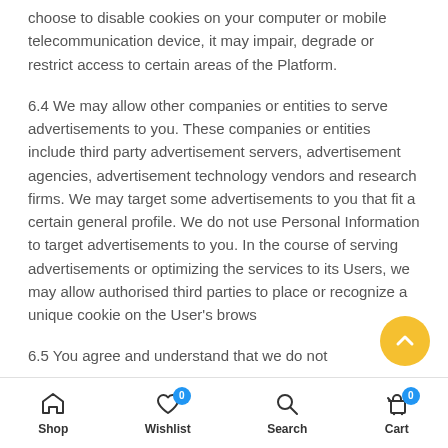choose to disable cookies on your computer or mobile telecommunication device, it may impair, degrade or restrict access to certain areas of the Platform.
6.4 We may allow other companies or entities to serve advertisements to you. These companies or entities include third party advertisement servers, advertisement agencies, advertisement technology vendors and research firms. We may target some advertisements to you that fit a certain general profile. We do not use Personal Information to target advertisements to you. In the course of serving advertisements or optimizing the services to its Users, we may allow authorised third parties to place or recognize a unique cookie on the User's brows
6.5 You agree and understand that we do not
Shop  Wishlist 0  Search  Cart 0